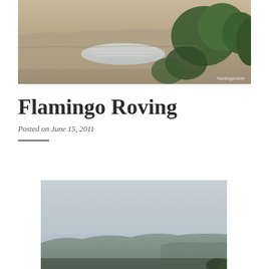[Figure (photo): Landscape header photo showing a wide savanna/crater landscape with dry plains, a reflective water surface in the middle distance, and lush green trees in the foreground right. Watermark reads 'flamingorover'.]
Flamingo Roving
Posted on June 15, 2011
[Figure (photo): Landscape photo showing a hazy open plain with distant low blue-green hills under a pale blue-grey sky. Partial view of green foliage at bottom right corner.]